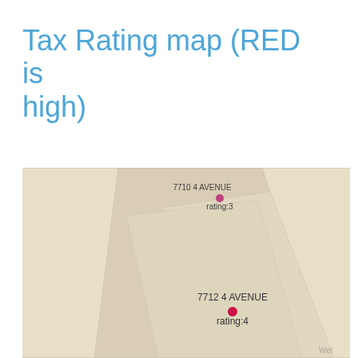Tax Rating map (RED is high)
[Figure (map): A tan/beige street map showing two property locations with colored rating markers. Upper marker (pink/magenta dot): address '7710 4 AVENUE rating:3'. Lower marker (red dot): address '7712 4 AVENUE rating:4'. Map has a 'Wel' watermark visible at bottom right corner.]